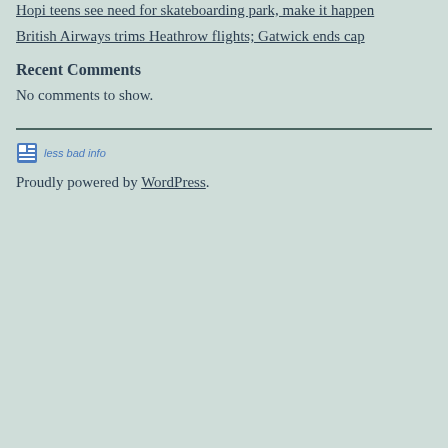Hopi teens see need for skateboarding park, make it happen
British Airways trims Heathrow flights; Gatwick ends cap
Recent Comments
No comments to show.
[Figure (logo): Less bad info website logo with grid icon and italic text 'less bad info']
Proudly powered by WordPress.